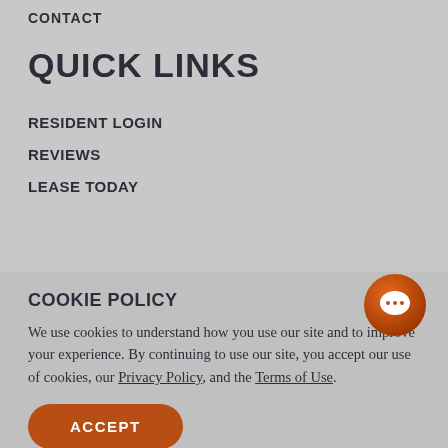CONTACT
QUICK LINKS
RESIDENT LOGIN
REVIEWS
LEASE TODAY
COOKIE POLICY
We use cookies to understand how you use our site and to improve your experience. By continuing to use our site, you accept our use of cookies, our Privacy Policy, and the Terms of Use.
ACCEPT
(512) 642-8620
APPLY NOW